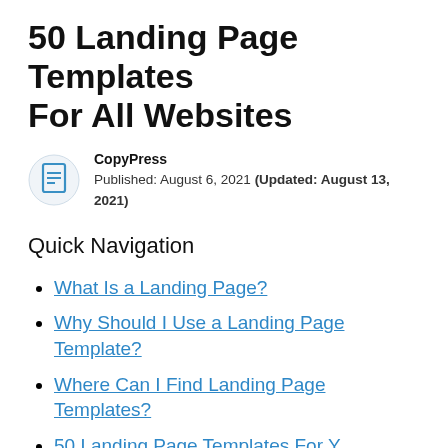50 Landing Page Templates For All Websites
CopyPress
Published: August 6, 2021 (Updated: August 13, 2021)
Quick Navigation
What Is a Landing Page?
Why Should I Use a Landing Page Template?
Where Can I Find Landing Page Templates?
50 Landing Page Templates For Y…